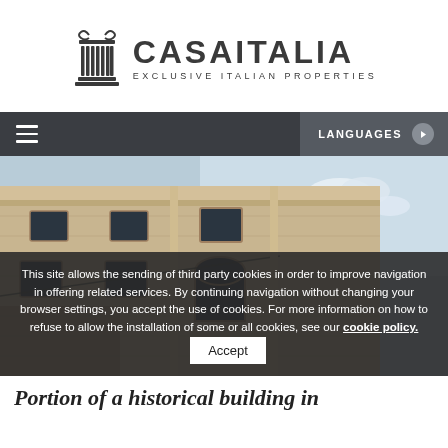[Figure (logo): CasaItalia logo with a classical column icon on the left and the text CASAITALIA / EXCLUSIVE ITALIAN PROPERTIES on the right]
LANGUAGES
[Figure (photo): Exterior photograph of a historic stone building facade with arched windows and ornate cornice details, taken from a low angle against a blue sky]
This site allows the sending of third party cookies in order to improve navigation in offering related services. By continuing navigation without changing your browser settings, you accept the use of cookies. For more information on how to refuse to allow the installation of some or all cookies, see our cookie policy.
Portion of a historical building in